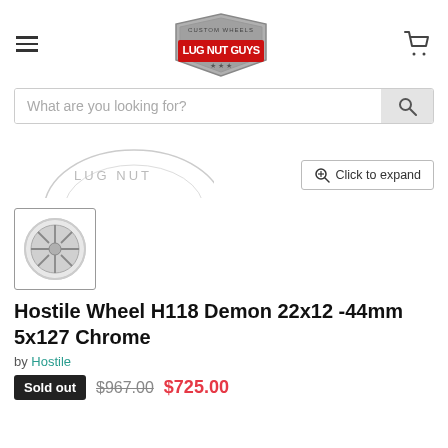Lug Nut Guys - Custom Wheels
[Figure (screenshot): Search bar with placeholder text 'What are you looking for?' and a search button]
[Figure (photo): Partial product image (wheel) with 'Click to expand' button overlay]
[Figure (photo): Thumbnail image of the Hostile Wheel H118 Demon chrome wheel]
Hostile Wheel H118 Demon 22x12 -44mm 5x127 Chrome
by Hostile
Sold out $967.00 $725.00